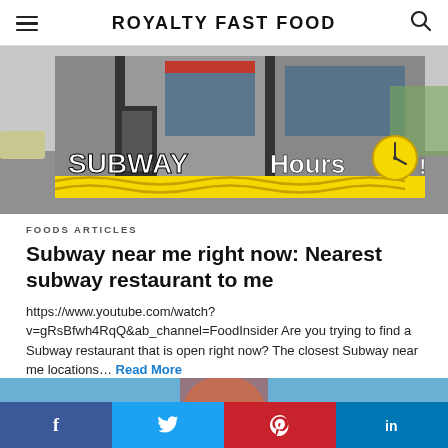ROYALTY FAST FOOD
[Figure (photo): Subway restaurant exterior building photo with text overlay 'SUBWAY Hours!' and a yellow clock graphic, yellow wavy lines at bottom]
FOODS ARTICLES
Subway near me right now: Nearest subway restaurant to me
https://www.youtube.com/watch?v=gRsBfwh4RqQ&ab_channel=FoodInsider Are you trying to find a Subway restaurant that is open right now? The closest Subway near me locations… Read More
1 day ago
[Figure (photo): Partial thumbnail of next article visible at bottom]
Facebook Twitter Pinterest LinkedIn social share buttons